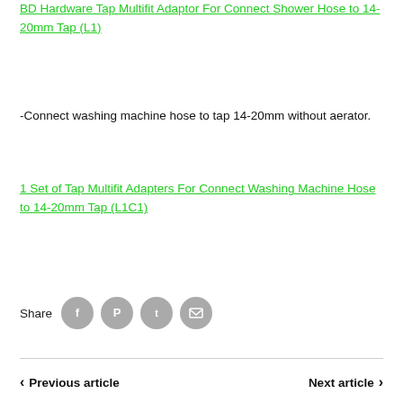BD Hardware Tap Multifit Adaptor For Connect Shower Hose to 14-20mm Tap (L1)
-Connect washing machine hose to tap 14-20mm without aerator.
1 Set of Tap Multifit Adapters For Connect Washing Machine Hose to 14-20mm Tap (L1C1)
[Figure (infographic): Share row with social media icons: Facebook, Pinterest, Twitter, Email]
< Previous article   Next article >